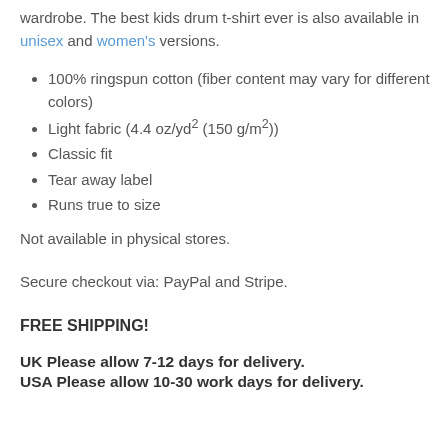wardrobe. The best kids drum t-shirt ever is also available in unisex and women's versions.
100% ringspun cotton (fiber content may vary for different colors)
Light fabric (4.4 oz/yd² (150 g/m²))
Classic fit
Tear away label
Runs true to size
Not available in physical stores.
Secure checkout via: PayPal and Stripe.
FREE SHIPPING!
UK Please allow 7-12 days for delivery.
USA Please allow 10-30 work days for delivery.